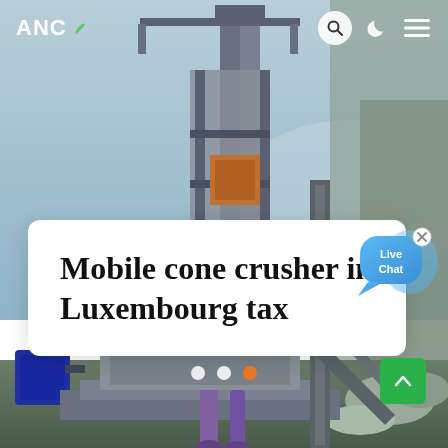[Figure (photo): Industrial mobile cone crusher machinery on a construction or mining site, with blue sky background. Large metal structures, conveyor belts, and heavy equipment visible.]
ANC
Mobile cone crusher in Luxembourg tax
[Figure (infographic): Live Chat speech bubble widget with blue gradient bubble and 'Live Chat' text, with a close X button]